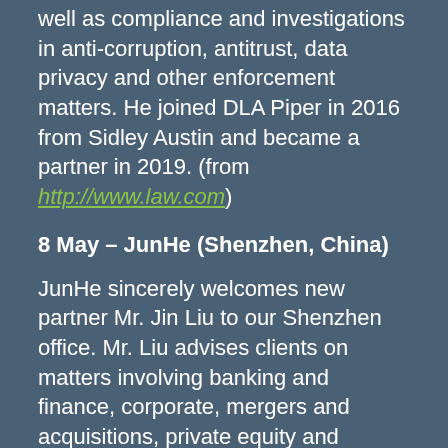well as compliance and investigations in anti-corruption, antitrust, data privacy and other enforcement matters. He joined DLA Piper in 2016 from Sidley Austin and became a partner in 2019. (from http://www.law.com)
8 May – JunHe (Shenzhen, China)
JunHe sincerely welcomes new partner Mr. Jin Liu to our Shenzhen office. Mr. Liu advises clients on matters involving banking and finance, corporate, mergers and acquisitions, private equity and venture capital.Currently, he is going through relevant formalities before joining JunHe.
Mr. Liu received his Master of Laws from the University of Durham, UK and his Bachelor of